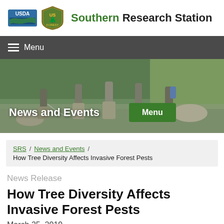[Figure (logo): USDA logo and US Forest Service shield logo]
Southern Research Station
Menu
[Figure (photo): People in waders standing in a river doing field research, surrounded by trees and rocky terrain]
News and Events
Menu
SRS / News and Events / How Tree Diversity Affects Invasive Forest Pests
News Release
How Tree Diversity Affects Invasive Forest Pests
March 25, 2019